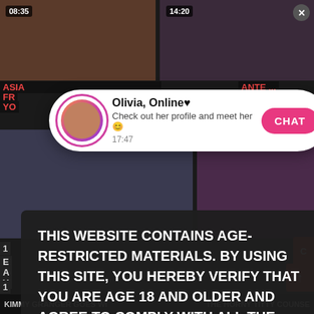[Figure (screenshot): Adult video website screenshot with age verification overlay and chat notification popup. Shows video thumbnails with timestamps 08:35 and 14:20 in top row, and more thumbnails below. A notification popup shows 'Olivia, Online♥' with profile image, text 'Check out her profile and meet her 😊', time '17:47', and a pink CHAT button. A dark semi-transparent overlay contains age restriction text.]
THIS WEBSITE CONTAINS AGE-RESTRICTED MATERIALS. BY USING THIS SITE, YOU HEREBY VERIFY THAT YOU ARE AGE 18 AND OLDER AND AGREE TO COMPLY WITH ALL THE PRIVACY POLICY. WE USE COOKIES TO PROVIDE YOU THE BEST POSSIBLE EXPERIENCE ON OUR WEBSITE AND TO MONITOR WEBSITE TRAFFIC. COOKIES POLICY.
KIMMY GRANGER GOES WI
THE HORNY TITTY COUNSE